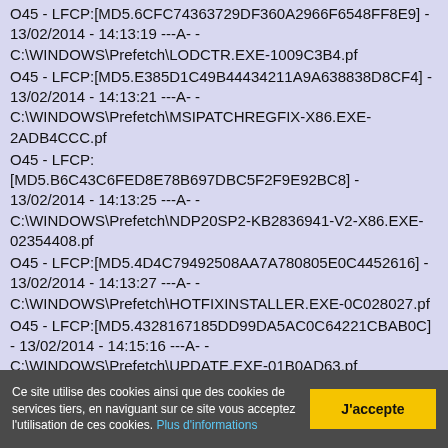O45 - LFCP:[MD5.6CFC74363729DF360A2966F6548FF8E9] - 13/02/2014 - 14:13:19 ---A- - C:\WINDOWS\Prefetch\LODCTR.EXE-1009C3B4.pf
O45 - LFCP:[MD5.E385D1C49B44434211A9A638838D8CF4] - 13/02/2014 - 14:13:21 ---A- - C:\WINDOWS\Prefetch\MSIPATCHREGFIX-X86.EXE-2ADB4CCC.pf
O45 - LFCP:[MD5.B6C43C6FED8E78B697DBC5F2F9E92BC8] - 13/02/2014 - 14:13:25 ---A- - C:\WINDOWS\Prefetch\NDP20SP2-KB2836941-V2-X86.EXE-02354408.pf
O45 - LFCP:[MD5.4D4C79492508AA7A780805E0C4452616] - 13/02/2014 - 14:13:27 ---A- - C:\WINDOWS\Prefetch\HOTFIXINSTALLER.EXE-0C028027.pf
O45 - LFCP:[MD5.4328167185DD99DA5AC0C64221CBAB0C] - 13/02/2014 - 14:15:16 ---A- - C:\WINDOWS\Prefetch\UPDATE.EXE-01B0AD63.pf
O45 - LFCP:[MD5.F096B719D3F4997CC4B99AB5F44D6494]
Ce site utilise des cookies ainsi que des cookies de services tiers, en naviguant sur ce site vous acceptez l'utilisation de ces cookies. Plus d'informations